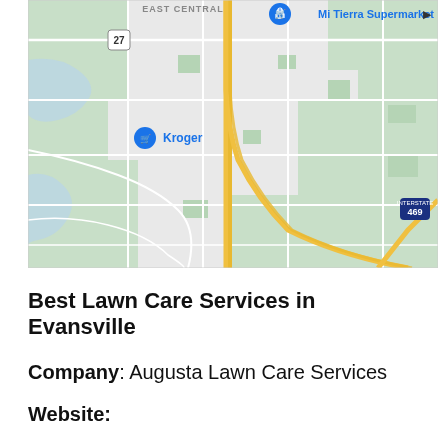[Figure (map): Google Maps screenshot showing a road map of East Central area with highway 27, interstate 469, Mi Tierra Supermarket pin, and Kroger store pin marked with blue shopping cart icons.]
Best Lawn Care Services in Evansville
Company: Augusta Lawn Care Services
Website: